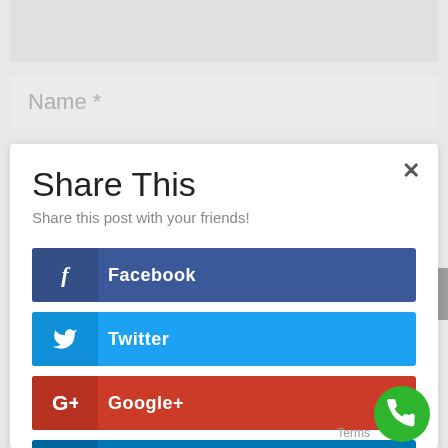[Figure (screenshot): Gray placeholder bar at top of page]
Name *
Share This
Share this post with your friends!
Facebook
Twitter
Google+
LinkedIn